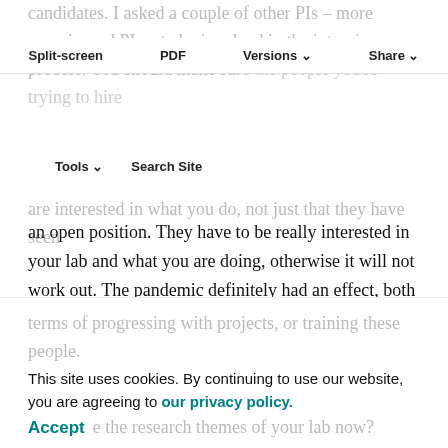candidates. I asked a couple of other PIs – more experienced PIs – to be involved in the interview process. You should make sure the people you're trying to hire
Split-screen   PDF   Versions   Share
Tools   Search Site
are interested in what you do, not just that they have seen an open position. They have to be really interested in your lab and what you are doing, otherwise it will not work out. The pandemic definitely had an effect, both at hiring level, as the closed borders restricts the pool of applicants, and at the training level. I had two new people starting in March 2020. As you can imagine, we couldn't do any training because all of a sudden the lab was shut down or had restricted capacity. 2020 was pretty much a lost year in
terms of progressing with projects, or training these people.
This site uses cookies. By continuing to use our website, you are agreeing to our privacy policy. Accept
What are the research themes of your lab now?